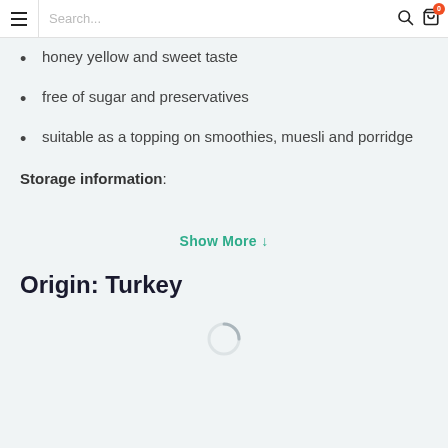Search...
honey yellow and sweet taste
free of sugar and preservatives
suitable as a topping on smoothies, muesli and porridge
Storage information:
Show More ↓
Origin: Turkey